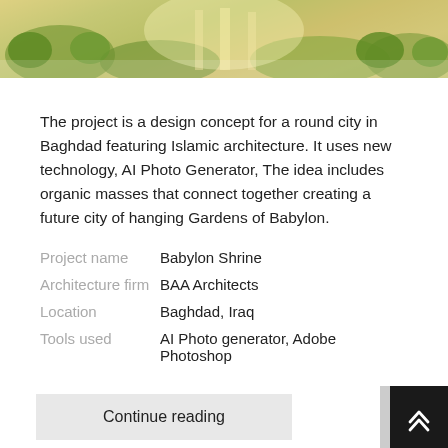[Figure (photo): Architectural rendering of a round city in Baghdad with Islamic architecture, hanging gardens, lush greenery and golden light]
The project is a design concept for a round city in Baghdad featuring Islamic architecture. It uses new technology, AI Photo Generator, The idea includes organic masses that connect together creating a future city of hanging Gardens of Babylon.
| Project name | Babylon Shrine |
| Architecture firm | BAA Architects |
| Location | Baghdad, Iraq |
| Tools used | AI Photo generator, Adobe Photoshop |
Continue reading